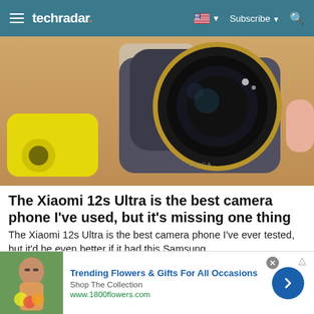techradar. — Subscribe — Search
[Figure (photo): Close-up of a Xiaomi 12s Ultra smartphone being held, showing a large circular camera module with a prominent lens. In the background, a yellow smartphone and other devices are visible on a wooden surface.]
The Xiaomi 12s Ultra is the best camera phone I've used, but it's missing one thing
The Xiaomi 12s Ultra is the best camera phone I've ever tested, but it'd be even better if it had this Samsung …
[Figure (photo): Advertisement banner: Trending Flowers & Gifts For All Occasions — Shop The Collection — www.1800flowers.com. Shows a woman holding flowers.]